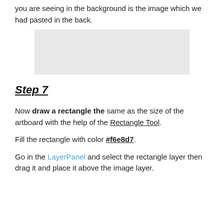you are seeing in the background is the image which we had pasted in the back.
[Figure (screenshot): Light gray placeholder rectangle representing a screenshot/image area]
Step 7
Now draw a rectangle the same as the size of the artboard with the help of the Rectangle Tool.
Fill the rectangle with color #f6e8d7.
Go in the LayerPanel and select the rectangle layer then drag it and place it above the image layer.